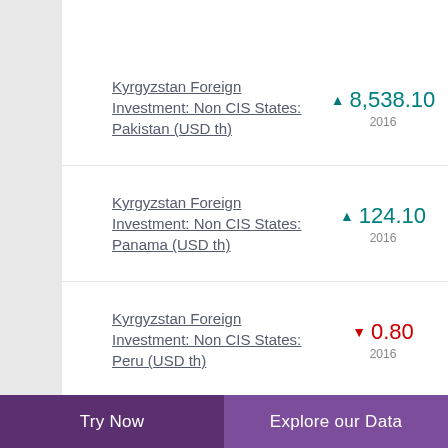Kyrgyzstan Foreign Investment: Non CIS States: Pakistan (USD th)
Kyrgyzstan Foreign Investment: Non CIS States: Panama (USD th)
Kyrgyzstan Foreign Investment: Non CIS States: Peru (USD th)
Kyrgyzstan Foreign Investment: Non CIS States: Poland (USD th)
Try Now | Explore our Data